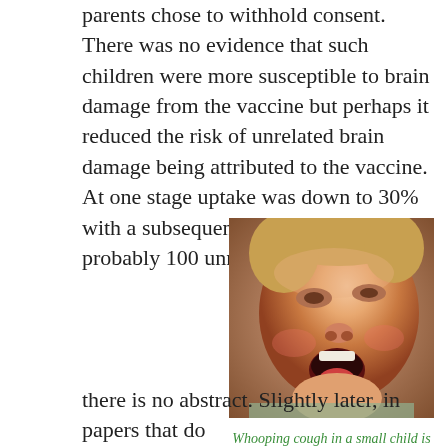parents chose to withhold consent. There was no evidence that such children were more susceptible to brain damage from the vaccine but perhaps it reduced the risk of unrelated brain damage being attributed to the vaccine. At one stage uptake was down to 30% with a subsequent epidemic and probably 100 unnecessary deaths.
I have not given a reference for this as it has been archived by the Health Protection Authority and a PubMed search for “pertussis vaccine and brain damage” gives a few papers but there is no abstract. Slightly later, in papers that do
[Figure (photo): Close-up photo of a small child with mouth open, appearing to be coughing or distressed, illustrating whooping cough.]
Whooping cough in a small child is a very distressing disease.